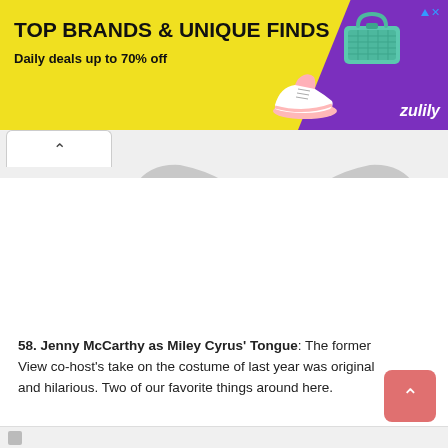[Figure (illustration): Zulily advertisement banner with yellow background, text 'TOP BRANDS & UNIQUE FINDS' and 'Daily deals up to 70% off', with shoe and bag images and purple Zulily branding on the right]
[Figure (illustration): Light gray bat silhouette graphic on white background, partially overlapping the browser tab area]
58. Jenny McCarthy as Miley Cyrus' Tongue: The former View co-host's take on the costume of last year was original and hilarious. Two of our favorite things around here.